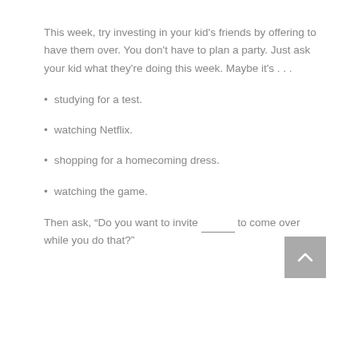This week, try investing in your kid's friends by offering to have them over. You don't have to plan a party. Just ask your kid what they're doing this week. Maybe it's . . .
studying for a test.
watching Netflix.
shopping for a homecoming dress.
watching the game.
Then ask, “Do you want to invite ______ to come over while you do that?”